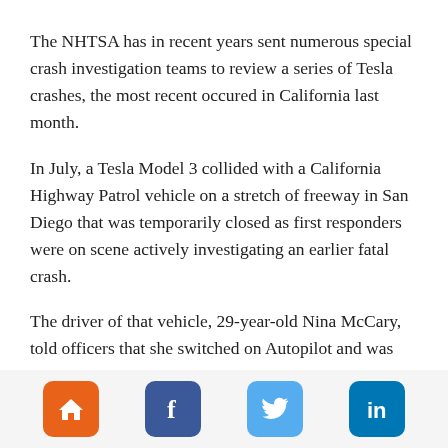The NHTSA has in recent years sent numerous special crash investigation teams to review a series of Tesla crashes, the most recent occured in California last month.
In July, a Tesla Model 3 collided with a California Highway Patrol vehicle on a stretch of freeway in San Diego that was temporarily closed as first responders were on scene actively investigating an earlier fatal crash.
The driver of that vehicle, 29-year-old Nina McCary, told officers that she switched on Autopilot and was not paying attention when the Model 3 she was driving approached the area of flashing emergency lights that was cordoned off with traffic cones and slammed into the back of the police vehicle. Offic...
[Figure (infographic): Footer navigation bar with four social/navigation icon buttons: home (orange), Facebook (dark blue), Twitter (light blue), LinkedIn (blue)]